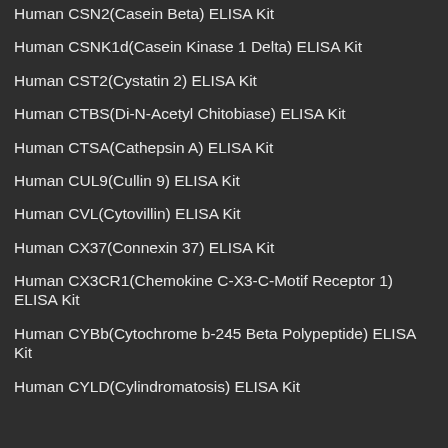Human CSN2(Casein Beta) ELISA Kit
Human CSNK1d(Casein Kinase 1 Delta) ELISA Kit
Human CST2(Cystatin 2) ELISA Kit
Human CTBS(Di-N-Acetyl Chitobiase) ELISA Kit
Human CTSA(Cathepsin A) ELISA Kit
Human CUL9(Cullin 9) ELISA Kit
Human CVL(Cytovillin) ELISA Kit
Human CX37(Connexin 37) ELISA Kit
Human CX3CR1(Chemokine C-X3-C-Motif Receptor 1) ELISA Kit
Human CYBb(Cytochrome b-245 Beta Polypeptide) ELISA Kit
Human CYLD(Cylindromatosis) ELISA Kit